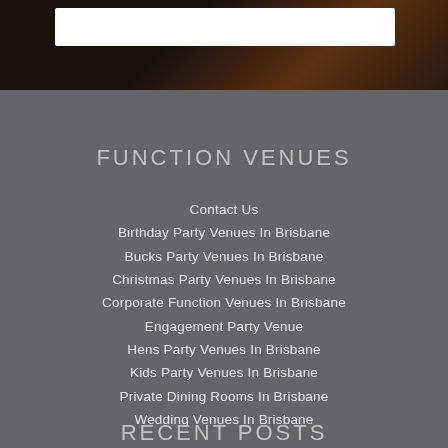[Figure (photo): Dark background with orange/warm tones, search bar visible at top]
FUNCTION VENUES
Contact Us
Birthday Party Venues In Brisbane
Bucks Party Venues In Brisbane
Christmas Party Venues In Brisbane
Corporate Function Venues In Brisbane
Engagement Party Venue
Hens Party Venues In Brisbane
Kids Party Venues In Brisbane
Private Dining Rooms In Brisbane
Wedding Venues In Brisbane
RECENT POSTS